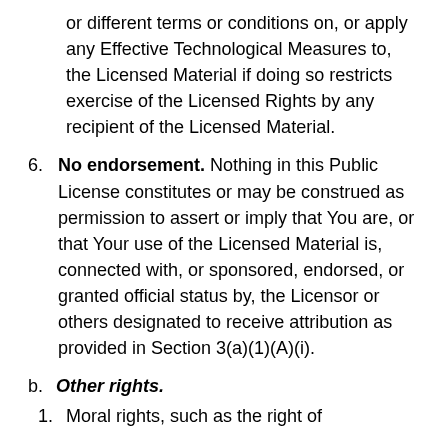or different terms or conditions on, or apply any Effective Technological Measures to, the Licensed Material if doing so restricts exercise of the Licensed Rights by any recipient of the Licensed Material.
6. No endorsement. Nothing in this Public License constitutes or may be construed as permission to assert or imply that You are, or that Your use of the Licensed Material is, connected with, or sponsored, endorsed, or granted official status by, the Licensor or others designated to receive attribution as provided in Section 3(a)(1)(A)(i).
b. Other rights.
1. Moral rights, such as the right of...